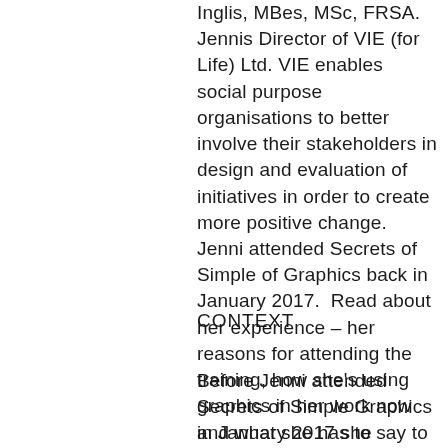Inglis, MBes, MSc, FRSA. Jennis Director of VIE (for Life) Ltd. VIE enables social purpose organisations to better involve their stakeholders in design and evaluation of initiatives in order to create more positive change. Jenni attended Secrets of Simple of Graphics back in January 2017.  Read about her experience – her reasons for attending the training, how she's using graphics in her work now and what she has to say to people who are thinking about learning this skill.
CONTEXT
Before Jenni attended Secrets of Simple Graphics in January 2017 she already used some graphics in her